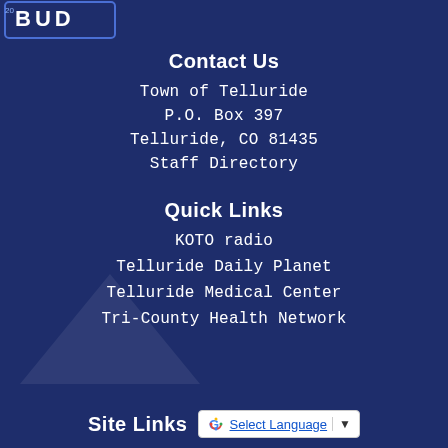[Figure (logo): Town of Telluride logo, partially visible at top left]
Contact Us
Town of Telluride
P.O. Box 397
Telluride, CO 81435
Staff Directory
Quick Links
KOTO radio
Telluride Daily Planet
Telluride Medical Center
Tri-County Health Network
Site Links
[Figure (other): Google Translate widget with G logo and Select Language dropdown]